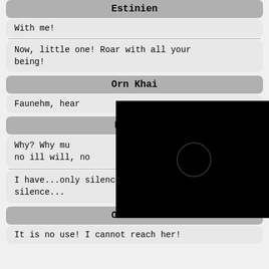Estinien
With me!
Now, little one! Roar with all your being!
Orn Khai
Faunehm, hear
Faunehm
Why? Why mu... no ill will, no ...
I have...only silence... A most deafening silence...
Orn Khai
It is no use! I cannot reach her!
[Figure (other): Black overlay with a dim crescent/circle shape visible in the center, partially obscuring the dialogue content behind it.]